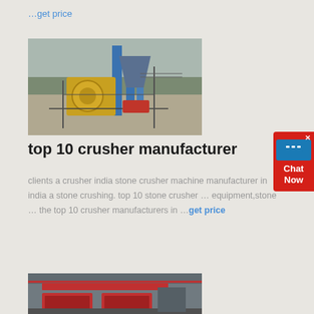…get price
[Figure (photo): Industrial stone crusher machinery installation at outdoor quarry site with blue steel structure and conveyor]
top 10 crusher manufacturer
clients a crusher india stone crusher machine manufacturer in india a stone crushing. top 10 stone crusher … equipment,stone … the top 10 crusher manufacturers in …get price
[Figure (photo): Indoor manufacturing facility with large red industrial crusher equipment and factory decorations]